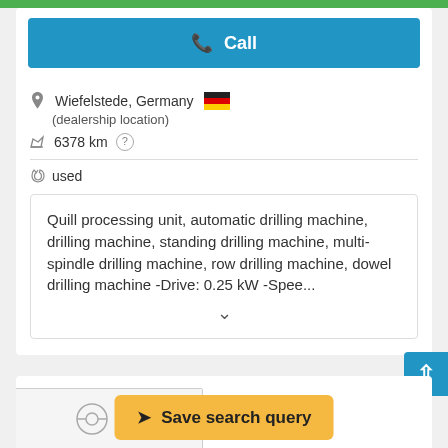Call
Wiefelstede, Germany (dealership location)
6378 km
used
Quill processing unit, automatic drilling machine, drilling machine, standing drilling machine, multi-spindle drilling machine, row drilling machine, dowel drilling machine -Drive: 0.25 kW -Spee...
Save search query